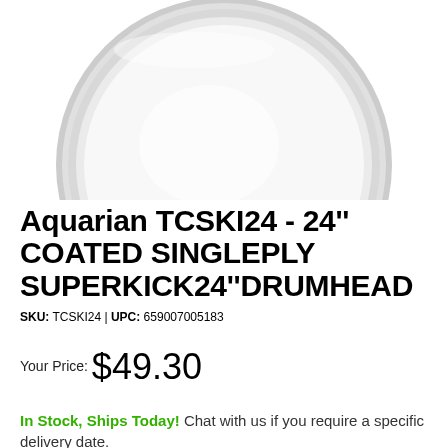[Figure (photo): White circular drumhead viewed from above, showing the white coated surface with a grey rim/hoop around the edge. The top portion of the circle is visible, cropped by the page edge.]
Aquarian TCSKI24 - 24'' COATED SINGLEPLY SUPERKICK24''DRUMHEAD
SKU: TCSKI24 | UPC: 659007005183
Your Price: $49.30
In Stock, Ships Today! Chat with us if you require a specific delivery date.